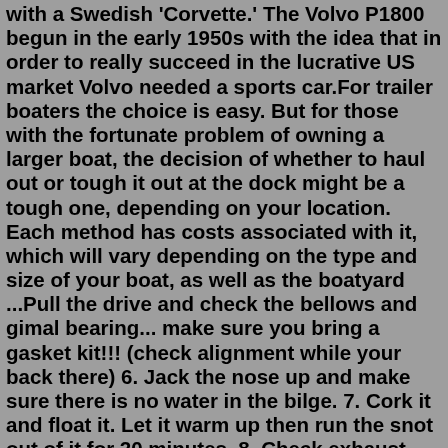with a Swedish 'Corvette.' The Volvo P1800 begun in the early 1950s with the idea that in order to really succeed in the lucrative US market Volvo needed a sports car.For trailer boaters the choice is easy. But for those with the fortunate problem of owning a larger boat, the decision of whether to haul out or tough it out at the dock might be a tough one, depending on your location. Each method has costs associated with it, which will vary depending on the type and size of your boat, as well as the boatyard ...Pull the drive and check the bellows and gimal bearing... make sure you bring a gasket kit!!! (check alignment while your back there) 6. Jack the nose up and make sure there is no water in the bilge. 7. Cork it and float it. Let it warm up then run the snot out of it for 20 minutes. 8. Check exhaust manifold and riser tempratures. 9.This is true, there is an approval process where you submit a description and a few pictures. If approved, you'll need a LOT of pictures and probably even a video plus a comprehensive description. For the cars that are approved, usually